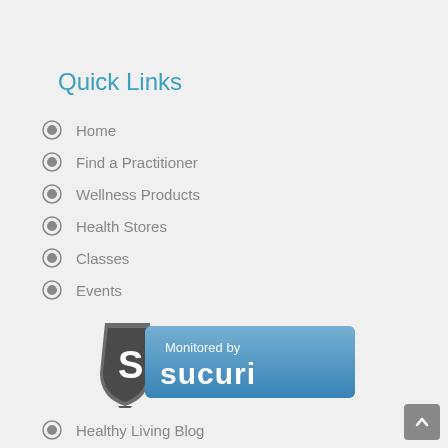Quick Links
Home
Find a Practitioner
Wellness Products
Health Stores
Classes
Events
[Figure (logo): Monitored by Sucuri security badge with shield logo and blue banner]
Healthy Living Blog